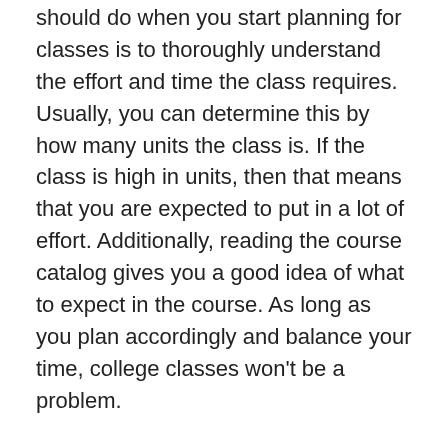should do when you start planning for classes is to thoroughly understand the effort and time the class requires. Usually, you can determine this by how many units the class is. If the class is high in units, then that means that you are expected to put in a lot of effort. Additionally, reading the course catalog gives you a good idea of what to expect in the course. As long as you plan accordingly and balance your time, college classes won't be a problem.
Summer Classes are a Good Option. But...
Taking classes in the summer is ideal if you want to complete more units. However, you must take into consideration the fact that summer classes are four days a week for six weeks and they tend to be more time consuming. The classes are more fully dedicated to the subject...